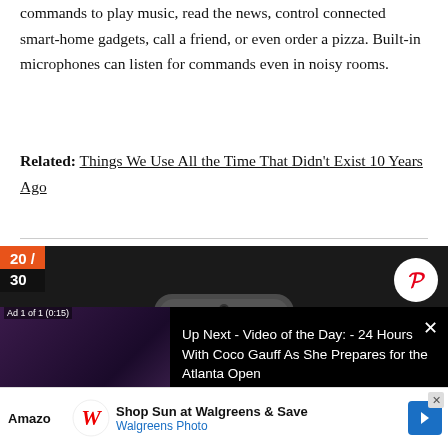commands to play music, read the news, control connected smart-home gadgets, call a friend, or even order a pizza. Built-in microphones can listen for commands even in noisy rooms.
Related: Things We Use All the Time That Didn't Exist 10 Years Ago
[Figure (photo): A dark gray smart speaker device (Amazon Echo or similar) shown from an angle against a dark background, with a counter badge showing 20/30 and a Pinterest share button]
[Figure (screenshot): Video player overlay showing 'Ad 1 of 1 (0:15)' with a thumbnail of a person and text 'Up Next - Video of the Day: - 24 Hours With Coco Gauff As She Prepares for the Atlanta Open']
[Figure (screenshot): Advertisement banner for Walgreens Photo: 'Shop Sun at Walgreens & Save' with Walgreens logo and navigation arrow]